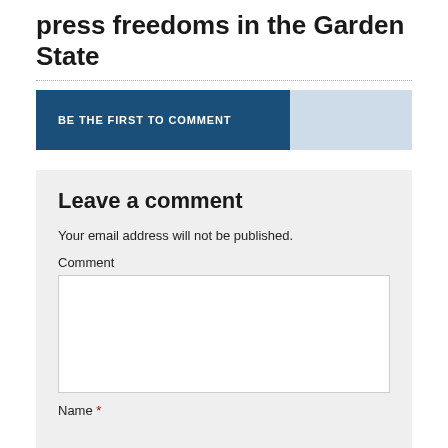press freedoms in the Garden State
BE THE FIRST TO COMMENT
Leave a comment
Your email address will not be published.
Comment
Name *